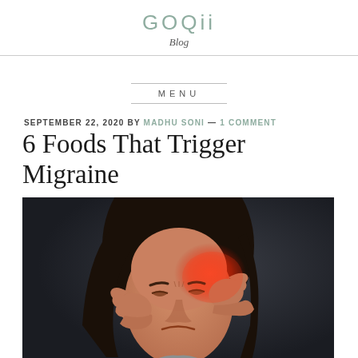GOQii Blog
MENU
SEPTEMBER 22, 2020 BY MADHU SONI — 1 COMMENT
6 Foods That Trigger Migraine
[Figure (photo): Woman with long dark hair grimacing in pain, pressing both hands to her temples, with a red glow on her forehead indicating a migraine headache, against a dark background.]